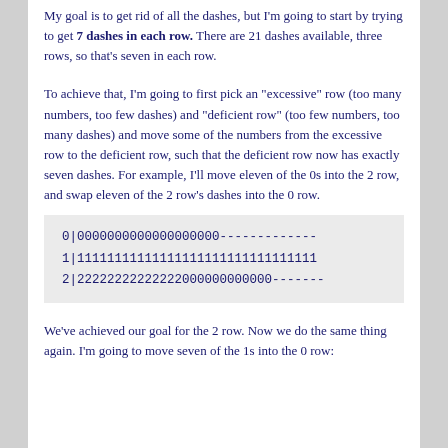My goal is to get rid of all the dashes, but I'm going to start by trying to get 7 dashes in each row. There are 21 dashes available, three rows, so that's seven in each row.
To achieve that, I'm going to first pick an "excessive" row (too many numbers, too few dashes) and "deficient row" (too few numbers, too many dashes) and move some of the numbers from the excessive row to the deficient row, such that the deficient row now has exactly seven dashes. For example, I'll move eleven of the 0s into the 2 row, and swap eleven of the 2 row's dashes into the 0 row.
[Figure (other): Code block showing stem-and-leaf style rows: 0|0000000000000000000-------------, 1|11111111111111111111111111111111, 2|22222222222222000000000000-------]
We've achieved our goal for the 2 row. Now we do the same thing again. I'm going to move seven of the 1s into the 0 row: